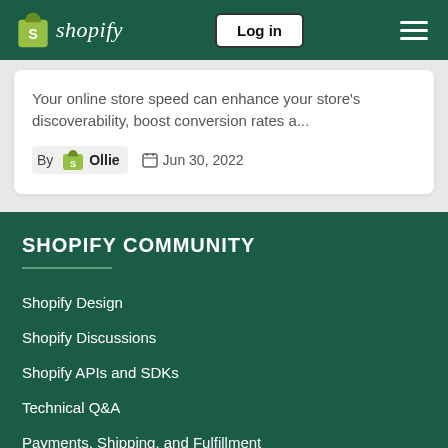Shopify — Log in
Your online store speed can enhance your store's discoverability, boost conversion rates a...
By Ollie  Jun 30, 2022
SHOPIFY COMMUNITY
Shopify Design
Shopify Discussions
Shopify APIs and SDKs
Technical Q&A
Payments, Shipping, and Fulfillment